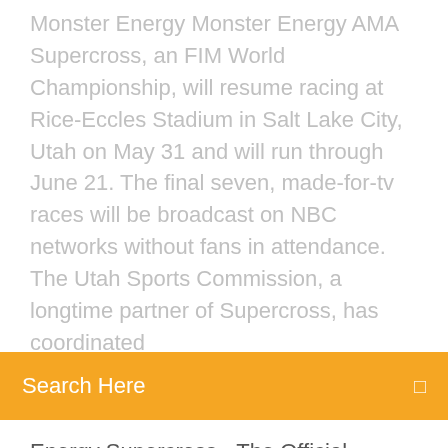Monster Energy Monster Energy AMA Supercross, an FIM World Championship, will resume racing at Rice-Eccles Stadium in Salt Lake City, Utah on May 31 and will run through June 21. The final seven, made-for-tv races will be broadcast on NBC networks without fans in attendance. The Utah Sports Commission, a longtime partner of Supercross, has coordinated
Search Here
Energy Supercross - The Official Videogame. Tümü Tartışmalar Ekran Görüntüleri Çizimler Yayınlar Videolar Haberler Rehberler İncelemeler. Monster Energy Supercross - The Official Videogame > Genel Tartışmalar > Konu Detayları. Luc Tellier. 21 Şub 2018 @ 6:05 FINALLY a message update from MILESTONE Written on their Facebook page 3 hours ago : Hello everyone, and thanks for
22. Febr. 2018 Für Monster Energy Supercross steht jetzt für die PS4-Version das erste Update zur Verfügung, während sich